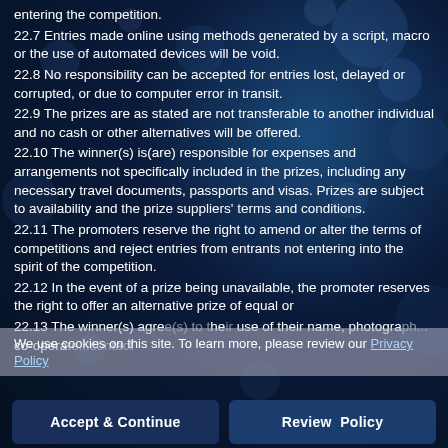entering the competition.
22.7 Entries made online using methods generated by a script, macro or the use of automated devices will be void.
22.8 No responsibility can be accepted for entries lost, delayed or corrupted, or due to computer error in transit.
22.9 The prizes are as stated are not transferable to another individual and no cash or other alternatives will be offered.
22.10 The winner(s) is(are) responsible for expenses and arrangements not specifically included in the prizes, including any necessary travel documents, passports and visas. Prizes are subject to availability and the prize suppliers' terms and conditions.
22.11 The promoters reserve the right to amend or alter the terms of competitions and reject entries from entrants not entering into the spirit of the competition.
22.12 In the event of a prize being unavailable, the promoter reserves the right to offer an alternative prize of equal or
We use cookies on this site. To learn more, please review our
22.13 The winner(s) agree(s) to the use of their name, photograph... co-operate ...contact
Accept & Continue | Review Policy